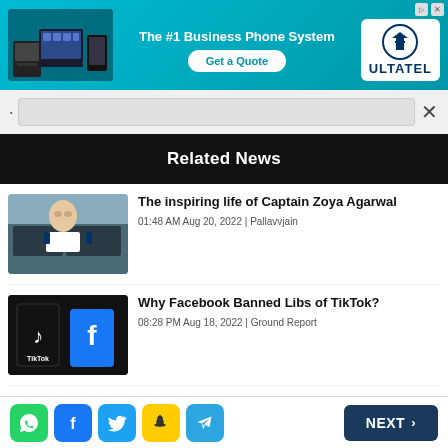[Figure (screenshot): Advertisement banner for Ultatel business phone system with blue background, devices image, 'The #1 Business Phone System' headline, 'Get a Quote' button, and Ultatel logo]
[Figure (screenshot): Search bar row with close X button on light gray background]
Related News
[Figure (photo): Thumbnail of Captain Zoya Agarwal - woman in pilot uniform in cockpit]
The inspiring life of Captain Zoya Agarwal
01:48 AM Aug 20, 2022 | Pallavvjain
[Figure (photo): Thumbnail showing TikTok and Facebook app logos on phone screens]
Why Facebook Banned Libs of TikTok?
08:28 PM Aug 18, 2022 | Ground Report
[Figure (photo): Partial thumbnail of third news article about Chantam Naidu]
Who is Chantam Naidu: Why does...
[Figure (screenshot): Bottom bar with WhatsApp, Facebook, Twitter, Snapchat, Telegram social share icons and NEXT button]